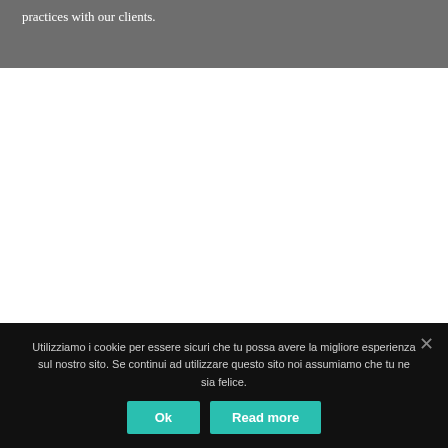practices with our clients.
Utilizziamo i cookie per essere sicuri che tu possa avere la migliore esperienza sul nostro sito. Se continui ad utilizzare questo sito noi assumiamo che tu ne sia felice.
Ok
Read more